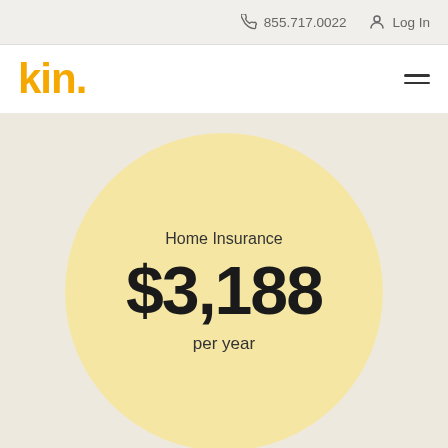855.717.0022   Log In
[Figure (logo): Kin insurance logo in gold/yellow text with hamburger menu icon]
Home Insurance
$3,188
per year